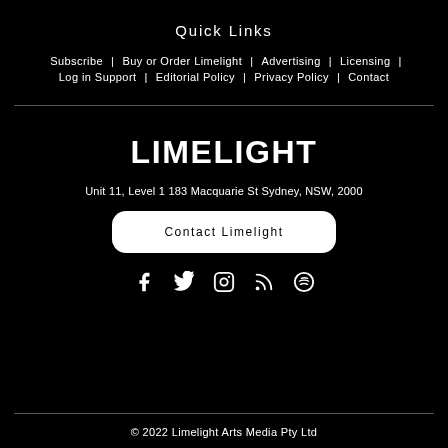Quick Links
Subscribe | Buy or Order Limelight | Advertising | Licensing |
Log in Support | Editorial Policy | Privacy Policy | Contact
LIMELIGHT
Unit 11, Level 1 183 Macquarie St Sydney, NSW, 2000
Contact Limelight
[Figure (other): Social media icons: Facebook, Twitter, Instagram, RSS, Spotify]
© 2022 Limelight Arts Media Pty Ltd